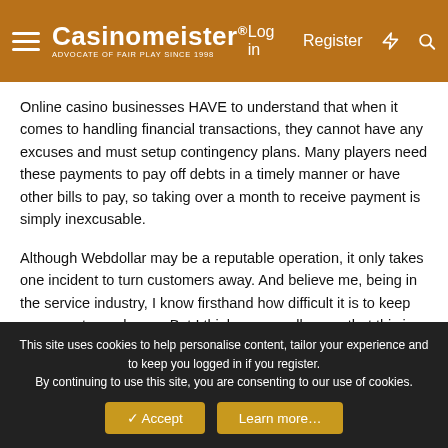Casinomeister® | Log in | Register
Online casino businesses HAVE to understand that when it comes to handling financial transactions, they cannot have any excuses and must setup contingency plans. Many players need these payments to pay off debts in a timely manner or have other bills to pay, so taking over a month to receive payment is simply inexcusable.
Although Webdollar may be a reputable operation, it only takes one incident to turn customers away. And believe me, being in the service industry, I know firsthand how difficult it is to keep every customer happy. But I think we can all agree that this is a major blunder by a high regarded company like Webdollar/Boss Media.
This site uses cookies to help personalise content, tailor your experience and to keep you logged in if you register. By continuing to use this site, you are consenting to our use of cookies.